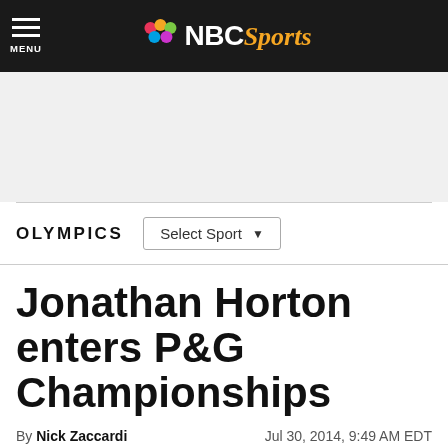NBC Sports
OLYMPICS
Jonathan Horton enters P&G Championships
By Nick Zaccardi   Jul 30, 2014, 9:49 AM EDT
[Figure (photo): Gymnastic rings with pink straps against a dark background with Olympic rings visible]